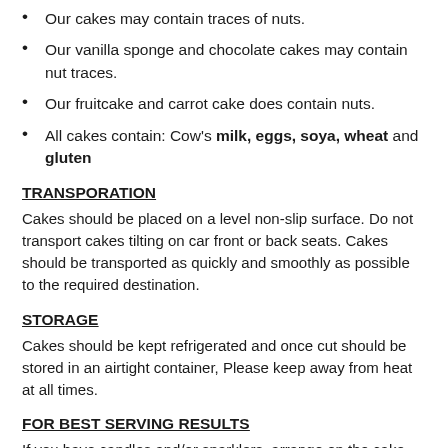Our cakes may contain traces of nuts.
Our vanilla sponge and chocolate cakes may contain nut traces.
Our fruitcake and carrot cake does contain nuts.
All cakes contain: Cow's milk, eggs, soya, wheat and gluten
TRANSPORATION
Cakes should be placed on a level non-slip surface. Do not transport cakes tilting on car front or back seats. Cakes should be transported as quickly and smoothly as possible to the required destination.
STORAGE
Cakes should be kept refrigerated and once cut should be stored in an airtight container, Please keep away from heat at all times.
FOR BEST SERVING RESULTS
If you have candles and/or sparklers, arrange on the cake. Please adhere to safety instructions on sparklers, please note; an adult should supervise children when using sparklers and when cutting the cake. All edible and non-edible